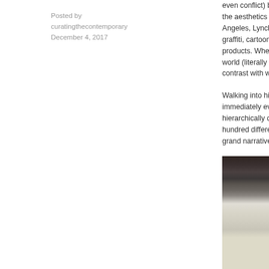Posted by
curatingthecontemporary
December 4, 2017
even conflict) between the aesthetics of a... Los Angeles, Lynch gre... graffiti, cartoons, ... products. When in 2... world (literally goi... contrast with what...
Walking into his A... immediately eviden... hierarchically descri... hundred different so... grand narratives of...
[Figure (photo): Interior gallery or exhibition space showing a corrugated metal roof with structural beam and artworks mounted on a wall below]